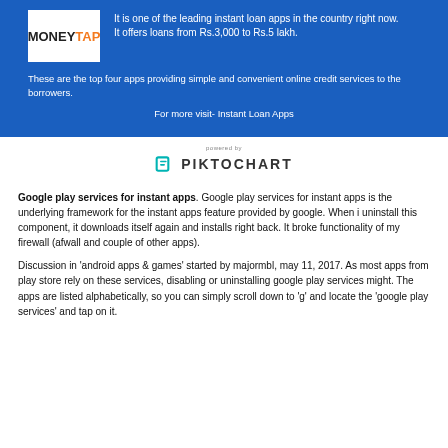[Figure (logo): MoneyTap logo — white background box with orange and black text 'MONEYTAP']
It is one of the leading instant loan apps in the country right now. It offers loans from Rs.3,000 to Rs.5 lakh.
These are the top four apps providing simple and convenient online credit services to the borrowers.
For more visit- Instant Loan Apps
[Figure (logo): Powered by Piktochart logo — teal P icon and bold uppercase PIKTOCHART wordmark]
Google play services for instant apps. Google play services for instant apps is the underlying framework for the instant apps feature provided by google. When i uninstall this component, it downloads itself again and installs right back. It broke functionality of my firewall (afwall and couple of other apps).
Discussion in 'android apps & games' started by majormbl, may 11, 2017. As most apps from play store rely on these services, disabling or uninstalling google play services might. The apps are listed alphabetically, so you can simply scroll down to 'g' and locate the 'google play services' and tap on it.